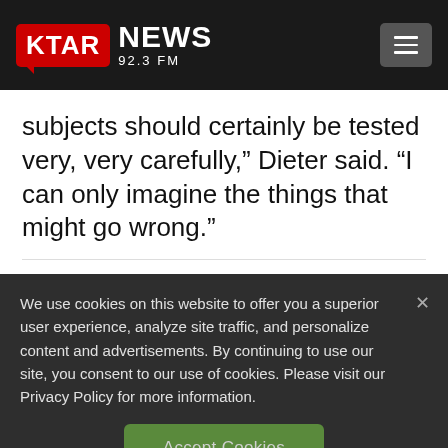[Figure (logo): KTAR NEWS 92.3 FM logo with red speech bubble background and hamburger menu icon]
subjects should certainly be tested very, very carefully,” Dieter said. “I can only imagine the things that might go wrong.”
We use cookies on this website to offer you a superior user experience, analyze site traffic, and personalize content and advertisements. By continuing to use our site, you consent to our use of cookies. Please visit our Privacy Policy for more information.
Accept Cookies